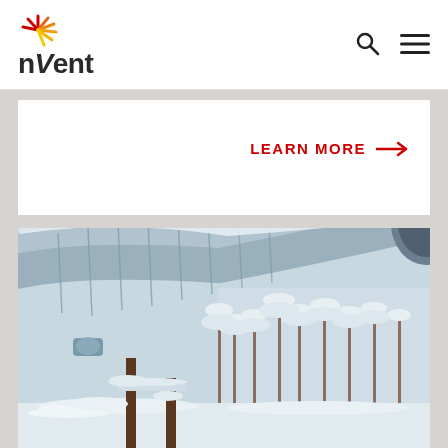nVent navigation header with logo and menu icons
LEARN MORE →
[Figure (photo): Industrial pipeline with metal insulation/cladding covered in snow, mounted on supports in a winter forest setting with snow-covered trees in the background]